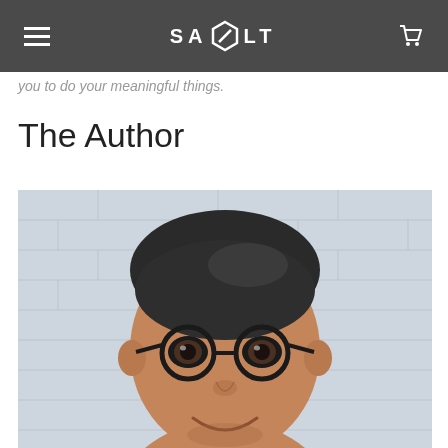SALT (navigation bar with logo and cart icon)
you to do your meaningful things.
The Author
[Figure (photo): Close-up portrait photo of a man with dark hair, glasses with round black frames, smiling, against a white brick wall background.]